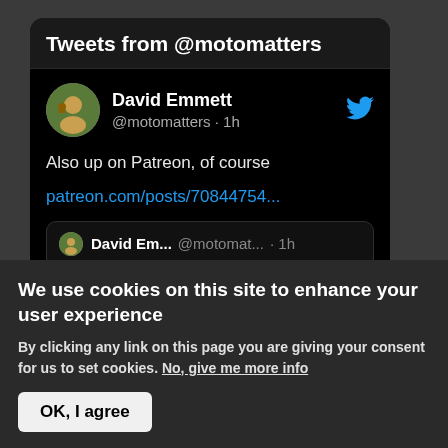Tweets from @motomatters
David Emmett
@motomatters · 1h
Also up on Patreon, of course
patreon.com/posts/70844754...
David Em... @motomat... · 1h
Austria Subscriber Notes posted: on team orders, tyre choice playing a role, while the Aprilia isn't the best
We use cookies on this site to enhance your user experience
By clicking any link on this page you are giving your consent for us to set cookies. No, give me more info
OK, I agree